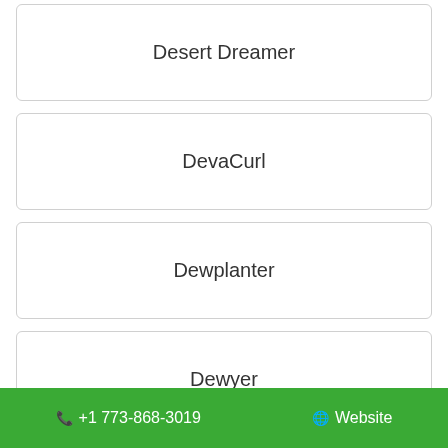Desert Dreamer
DevaCurl
Dewplanter
Dewyer
Diadora
+1 773-868-3019   Website